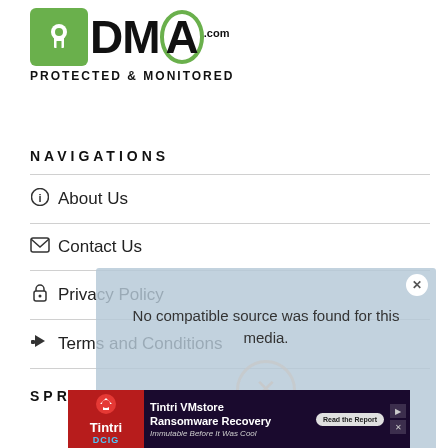[Figure (logo): DMCA.com Protected & Monitored logo with green keyhole icon and black bold text]
NAVIGATIONS
About Us
Contact Us
Privacy Policy
Terms and Conditions
[Figure (screenshot): Video player overlay showing 'No compatible source was found for this media.' with close X button]
SPREAD OUR NEWS:
[Figure (infographic): Tintri VMstore Ransomware Recovery advertisement banner with DCIG branding and 'Read the Report' CTA button]